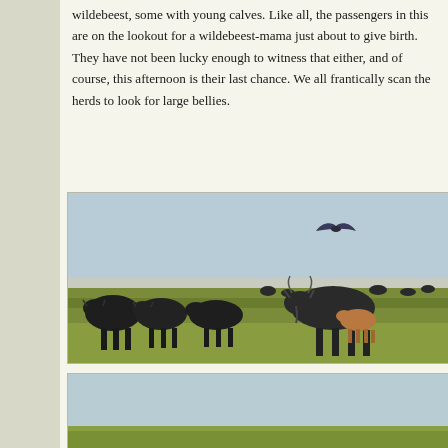wildebeest, some with young calves. Like all, the passengers in this are on the lookout for a wildebeest-mama just about to give birth. They have not been lucky enough to witness that either, and of course, this afternoon is their last chance. We all frantically scan the herds to look for large bellies.
[Figure (photo): A herd of wildebeest grazing on a vast green savanna plain. In the foreground, a mother wildebeest nuzzles a small brown calf. Several dark wildebeest are visible walking through green grass. In the background, many more wildebeest dot the landscape under a pale blue sky. A bird is seen in flight in the upper right portion of the sky.]
[Figure (photo): Partial view of another safari/savanna scene, showing mostly pale blue sky and a thin green horizon line at the bottom, with what appears to be a flat open plain.]